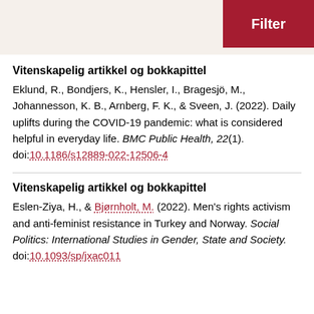Filter
Vitenskapelig artikkel og bokkapittel
Eklund, R., Bondjers, K., Hensler, I., Bragesjö, M., Johannesson, K. B., Arnberg, F. K., & Sveen, J. (2022). Daily uplifts during the COVID-19 pandemic: what is considered helpful in everyday life. BMC Public Health, 22(1). doi:10.1186/s12889-022-12506-4
Vitenskapelig artikkel og bokkapittel
Eslen-Ziya, H., & Bjørnholt, M. (2022). Men's rights activism and anti-feminist resistance in Turkey and Norway. Social Politics: International Studies in Gender, State and Society. doi:10.1093/sp/jxac011